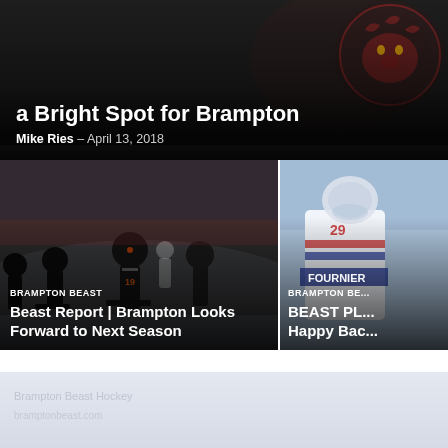[Figure (photo): Hero banner with dark hockey-themed background showing Brampton Beast logo on the right]
a Bright Spot for Brampton
Mike Ries - April 13, 2018
[Figure (photo): Hockey game action photo showing Brampton Beast players on ice during a game]
BRAMPTON BEAST
Beast Report | Brampton Looks Forward to Next Season
[Figure (photo): Brampton Beast player wearing jersey with FOURNIER visible, partial image on right side]
BRAMPTON BE...
BEAST PL... Happy Bac...